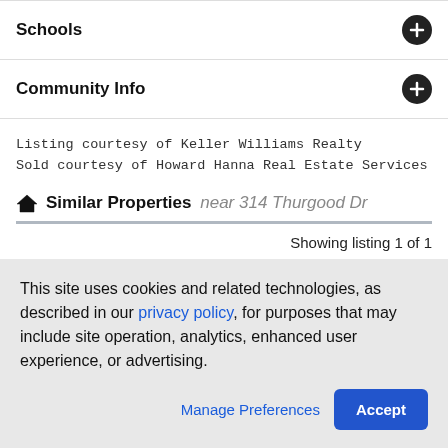Schools
Community Info
Listing courtesy of Keller Williams Realty
Sold courtesy of Howard Hanna Real Estate Services
Similar Properties near 314 Thurgood Dr
Showing listing 1 of 1
This site uses cookies and related technologies, as described in our privacy policy, for purposes that may include site operation, analytics, enhanced user experience, or advertising.
Manage Preferences  Accept